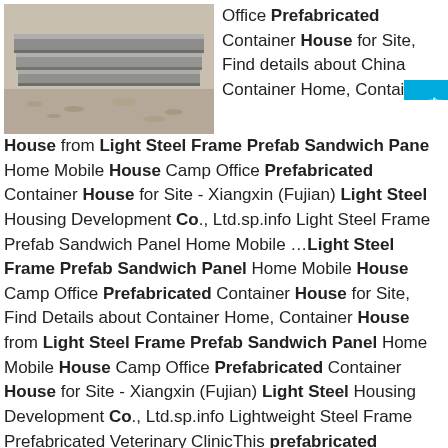[Figure (photo): Stacked metal steel sheets/plates on a gravel surface, industrial setting.]
Office Prefabricated Container House for Site, Find details about China Container Home, Container House from Light Steel Frame Prefab Sandwich Panel Home Mobile House Camp Office Prefabricated Container House for Site - Xiangxin (Fujian) Light Steel Housing Development Co., Ltd.sp.info Light Steel Frame Prefab Sandwich Panel Home Mobile …Light Steel Frame Prefab Sandwich Panel Home Mobile House Camp Office Prefabricated Container House for Site, Find Details about Container Home, Container House from Light Steel Frame Prefab Sandwich Panel Home Mobile House Camp Office Prefabricated Container House for Site - Xiangxin (Fujian) Light Steel Housing Development Co., Ltd.sp.info Lightweight Steel Frame Prefabricated Veterinary ClinicThis prefabricated veterinary clinic can be modular audit offices, portable examination rooms, prefab, pet boarding, pet beauty, etc. III. Specification of